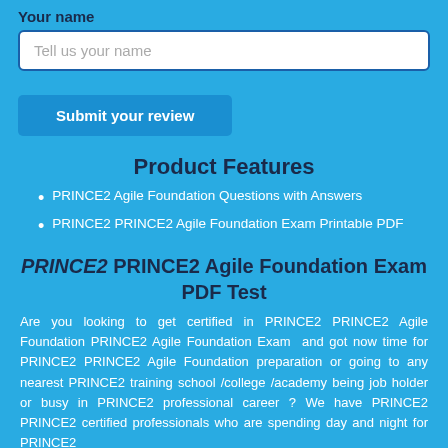Your name
Tell us your name
Submit your review
Product Features
PRINCE2 Agile Foundation Questions with Answers
PRINCE2 PRINCE2 Agile Foundation Exam Printable PDF
PRINCE2 PRINCE2 Agile Foundation Exam PDF Test
Are you looking to get certified in PRINCE2 PRINCE2 Agile Foundation PRINCE2 Agile Foundation Exam  and got now time for PRINCE2 PRINCE2 Agile Foundation preparation or going to any nearest PRINCE2 training school /college /academy being job holder or busy in PRINCE2 professional career ? We have PRINCE2 PRINCE2 certified professionals who are spending day and night for PRINCE2